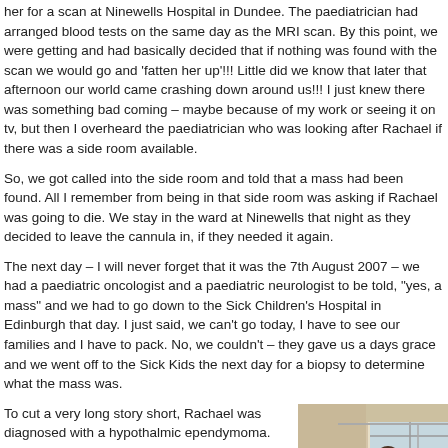her for a scan at Ninewells Hospital in Dundee. The paediatrician had arranged blood tests on the same day as the MRI scan. By this point, we were getting and had basically decided that if nothing was found with the scan we would go and 'fatten her up'!!! Little did we know that later that afternoon our world came crashing down around us!!! I just knew there was something bad coming – maybe because of my work or seeing it on tv, but then I overheard the paediatrician who was looking after Rachael if there was a side room available.
So, we got called into the side room and told that a mass had been found. All I remember from being in that side room was asking if Rachael was going to die. We stay in the ward at Ninewells that night as they decided to leave the cannula in, if they needed it again.
The next day – I will never forget that it was the 7th August 2007 – we had a paediatric oncologist and a paediatric neurologist to be told, "yes, a mass" and we had to go down to the Sick Children's Hospital in Edinburgh that day. I just said, we can't go today, I have to see our families and I have to pack. No, we couldn't – they gave us a days grace and we went off to the Sick Kids the next day for a biopsy to determine what the mass was.
To cut a very long story short, Rachael was diagnosed with a hypothalmic ependymoma. She had chemotherapy fortnightly for just under 2 years. The tumour was about 7cm to begin with and had shrunk down to just under 2cm when the chemo was stopped as it wasn't
[Figure (photo): A photo showing a person (child or adult) in what appears to be a hospital or indoor setting with windows and equipment visible in the background.]